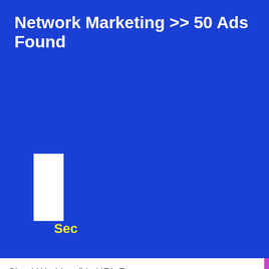Network Marketing >> 50 Ads Found
[Figure (screenshot): White rectangular placeholder box on blue background]
Sec
Sites! Worldprofit's URL Rotator...
[Figure (screenshot): Worldprofit advertisement card. Top section with avatar and Worldprofit logo on yellow background. Text: Where do TOP Marketers get trusted advertising? When you want Verifiable Traffic and Proven Results Worldprofit - Industry Leader for Over 25 years. Sign up for a Free Associate Membership and get insider access to Special Offers. Lower section with green background showing Diamond URL Rotator product with icon, features list, price $37, and a signup form with Full Name and Email fields.]